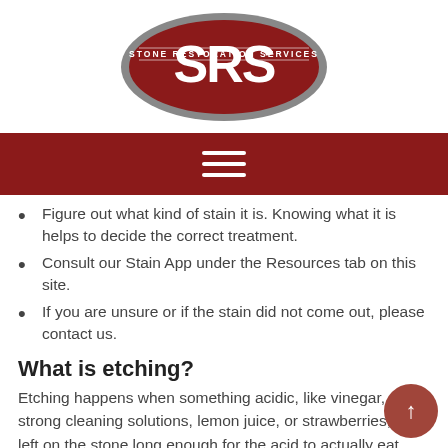[Figure (logo): SRS Stone Restoration Services oval logo with dark red background and grey border]
[Figure (other): Dark red navigation bar with hamburger menu icon (three white horizontal lines)]
Figure out what kind of stain it is. Knowing what it is helps to decide the correct treatment.
Consult our Stain App under the Resources tab on this site.
If you are unsure or if the stain did not come out, please contact us.
What is etching?
Etching happens when something acidic, like vinegar, strong cleaning solutions, lemon juice, or strawberries, is left on the stone long enough for the acid to actually eat away some of the surface minerals of the stone. An etch will usually lighten